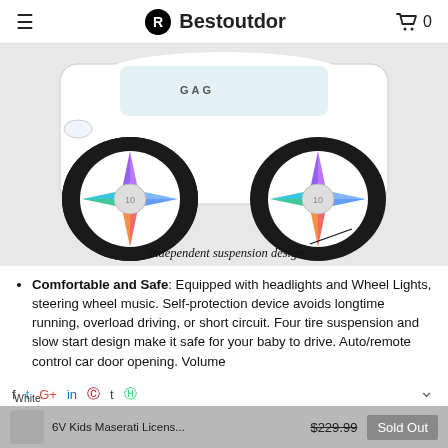☰  Bestoutdor  🛒 0
[Figure (photo): White kids ride-on toy car (Maserati style) shown from front-bottom angle displaying colorful LED wheel lights. Annotation line points to rear right wheel with label 'Independent suspension design'.]
Comfortable and Safe: Equipped with headlights and Wheel Lights, steering wheel music. Self-protection device avoids longtime running, overload driving, or short circuit. Four tire suspension and slow start design make it safe for your baby to drive. Auto/remote control car door opening. Volume
6V Kids Maserati Licens...  $229.99  Sold Out